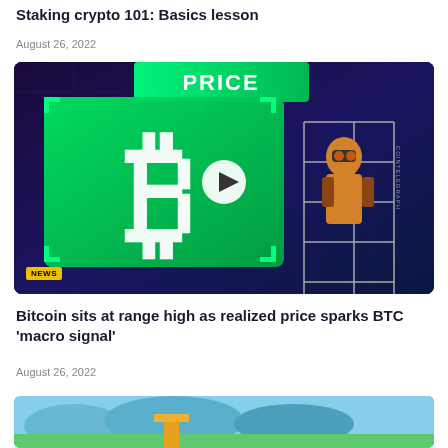Staking crypto 101: Basics lesson
August 26, 2022
[Figure (illustration): Cointelegraph illustration showing a Bitcoin price sign (green glowing board with BTC symbol) with a cartoon character in yellow/orange suit climbing a geometric scaffold, with 'PRICE' text at top and 'NEWS' badge at bottom left. Play button overlay in center.]
Bitcoin sits at range high as realized price sparks BTC 'macro signal'
August 26, 2022
[Figure (illustration): Partial image at bottom showing a colorful scene with sky blue and green tones, partially visible.]